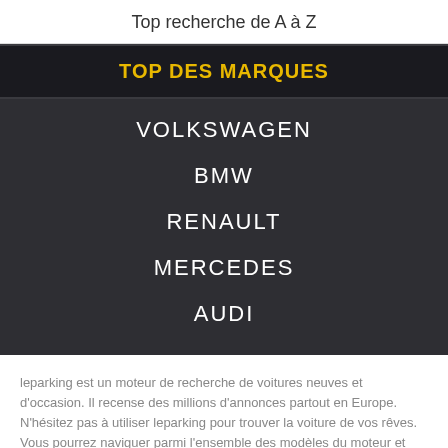Top recherche de A à Z
TOP DES MARQUES
VOLKSWAGEN
BMW
RENAULT
MERCEDES
AUDI
leparking est un moteur de recherche de voitures neuves et d'occasion. Il recense des millions d'annonces partout en Europe. N'hésitez pas à utiliser leparking pour trouver la voiture de vos rêves. Vous pourrez naviguer parmi l'ensemble des modèles du moteur et filtrer vos résultats via divers critères pertinents : marque,modele,millésime, kilométrage, etc. leparking propose également un espace professionnel. Cet espace, leparking Stats, donne accès aux statistiques du secteur de la vente de